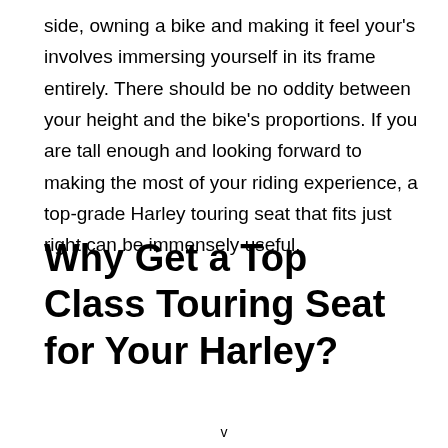side, owning a bike and making it feel your's involves immersing yourself in its frame entirely. There should be no oddity between your height and the bike's proportions. If you are tall enough and looking forward to making the most of your riding experience, a top-grade Harley touring seat that fits just right can be immensely useful.
Why Get a Top Class Touring Seat for Your Harley?
v